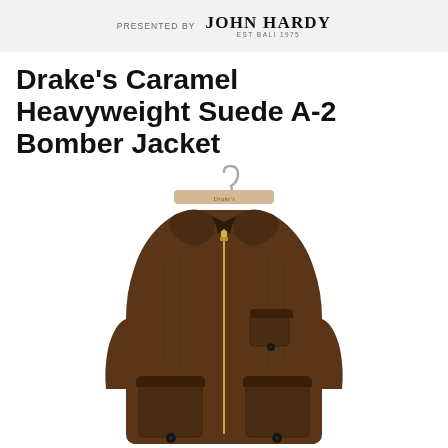PRESENTED BY  JOHN HARDY  EST BALI 1975
Drake's Caramel Heavyweight Suede A-2 Bomber Jacket
[Figure (photo): Drake's caramel heavyweight suede A-2 bomber jacket displayed on a wooden Drake's branded hanger with a silver hook, against a white background. The jacket is dark brown suede with a zip front, point collar, chest pocket with button, and two lower flap pockets with buttons.]